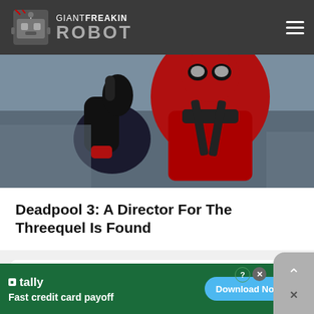GIANT FREAKIN ROBOT
[Figure (photo): Deadpool character in red and black suit giving a thumbs up gesture]
Deadpool 3: A Director For The Threequel Is Found
Search for
1. Best Obi Wan Kenobi Puns
[Figure (screenshot): Tally app advertisement banner - Fast credit card payoff - Download Now button]